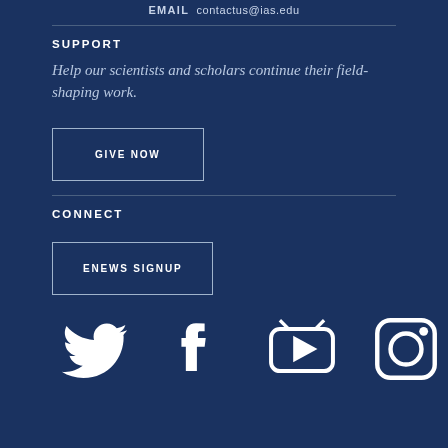EMAIL contactus@ias.edu
SUPPORT
Help our scientists and scholars continue their field-shaping work.
GIVE NOW
CONNECT
ENEWS SIGNUP
[Figure (infographic): Social media icons: Twitter, Facebook, YouTube, Instagram]